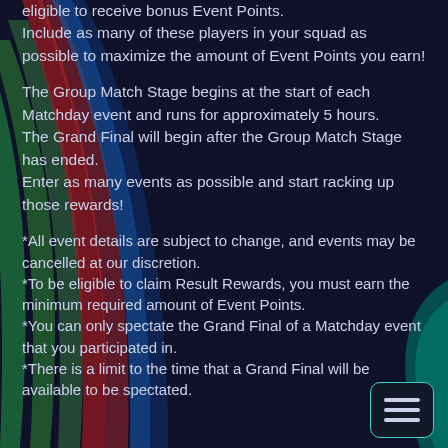eligible to receive bonus Event Points.
Include as many of these players in your squad as possible to maximize the amount of Event Points you earn!
The Group Match Stage begins at the start of each Matchday event and runs for approximately 5 hours.
The Grand Final will begin after the Group Match Stage has ended.
Enter as many events as possible and start racking up those rewards!
*All event details are subject to change, and events may be cancelled at our discretion.
*To be eligible to claim Result Rewards, you must earn the minimum required amount of Event Points.
*You can only spectate the Grand Final of a Matchday event that you participated in.
*There is a limit to the time that a Grand Final will be available to be spectated.